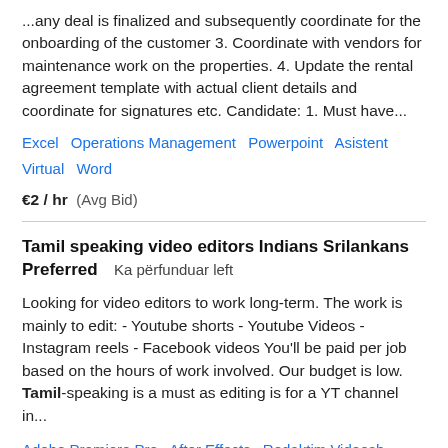...any deal is finalized and subsequently coordinate for the onboarding of the customer 3. Coordinate with vendors for maintenance work on the properties. 4. Update the rental agreement template with actual client details and coordinate for signatures etc. Candidate: 1. Must have...
Excel   Operations Management   Powerpoint   Asistent Virtual   Word
€2 / hr  (Avg Bid)
Tamil speaking video editors Indians Srilankans Preferred   Ka përfunduar left
Looking for video editors to work long-term. The work is mainly to edit: - Youtube shorts - Youtube Videos - Instagram reels - Facebook videos You'll be paid per job based on the hours of work involved. Our budget is low. Tamil-speaking is a must as editing is for a YT channel in...
Adobe Premiere Pro   After Effects   Redaktim Videosh   Shërbime video